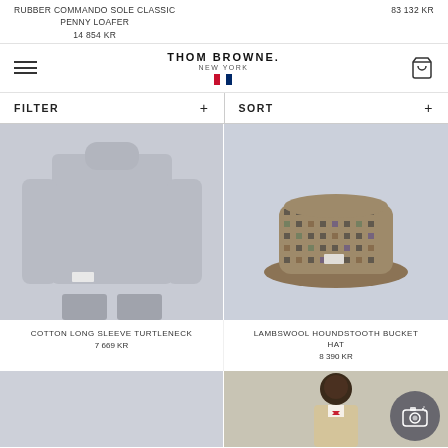RUBBER COMMANDO SOLE CLASSIC PENNY LOAFER 14 854 KR | 83 132 KR
[Figure (screenshot): Thom Browne navigation bar with hamburger menu, brand logo with flag, and cart icon]
FILTER +  SORT +
[Figure (photo): Gray cotton long sleeve turtleneck sweater on model]
[Figure (photo): Lambswool houndstooth bucket hat on light lavender background]
COTTON LONG SLEEVE TURTLENECK
7 669 KR
LAMBSWOOL HOUNDSTOOTH BUCKET HAT
8 390 KR
[Figure (photo): Bottom left product image placeholder on lavender background]
[Figure (photo): Bottom right product image: man in beige suit]